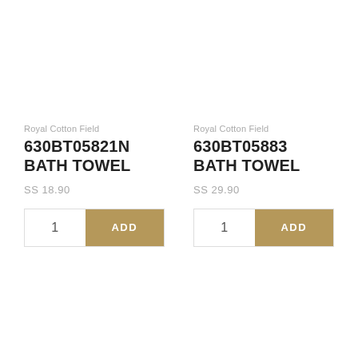Royal Cotton Field
630BT05821N BATH TOWEL
SS 18.90
Royal Cotton Field
630BT05883 BATH TOWEL
SS 29.90